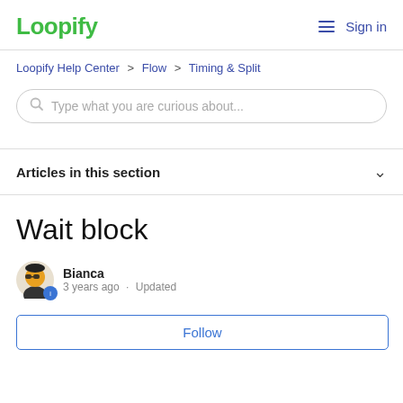Loopify  Sign in
Loopify Help Center > Flow > Timing & Split
Type what you are curious about...
Articles in this section
Wait block
Bianca
3 years ago · Updated
Follow